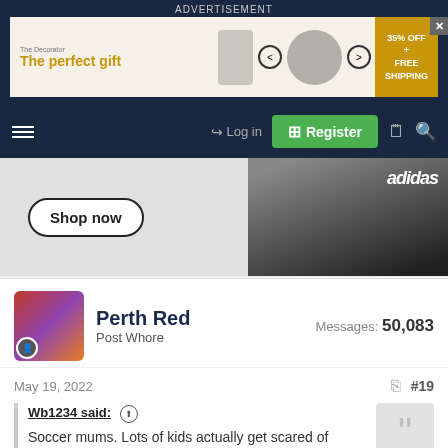ADVERTISEMENT
[Figure (other): Advertisement banner for a kitchen/gift shop: 'The perfect gift' with pot images, arrows, and '35% OFF + FREE SHIPPING' offer]
[Figure (screenshot): Navigation bar with hamburger menu, Log in button, Register button, document icon, and search icon on dark navy background]
[Figure (photo): Adidas advertisement banner showing people in black adidas clothing with 'Shop now' button]
Perth Red
Post Whore
Messages: 50,083
May 19, 2022
#19
Wb1234 said:
Soccer mums. Lots of kids actually get scared of tackling and being hit hard as they get older and it becomes more